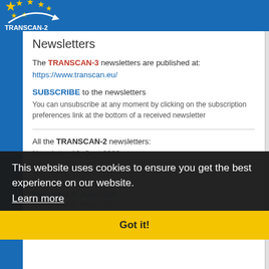TRANSCAN-2
Newsletters
The TRANSCAN-3 newsletters are published at: https://www.transcan.eu/
SUBSCRIBE to the newsletters
You can unsubscribe at any moment by clicking on the subscription preferences link at the bottom of a received newsletter
All the TRANSCAN-2 newsletters:
Newsletter 9, Dec. 2019
Newsletter 8, May 2019
Newsletter 7, Oct.2018
Newsletter 6, June 2108
Newsletter 5, March 2018
Newsletter 4, Dec. 2017
Newsletter 3, Sept. 2017
Newsletter 2, April 2017
This website uses cookies to ensure you get the best experience on our website. Learn more Got it!